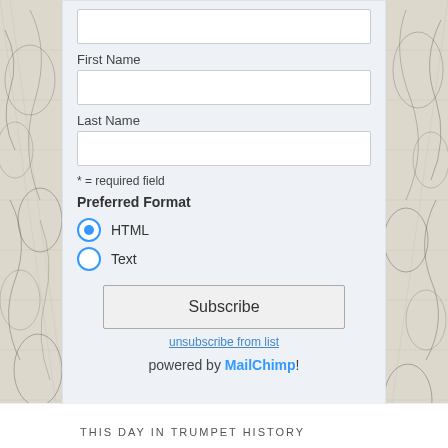[Figure (illustration): Left side decorative black and white etching illustration with floral/nature motifs]
First Name
Last Name
* = required field
Preferred Format
HTML (selected radio button)
Text (unselected radio button)
Subscribe
unsubscribe from list
powered by MailChimp!
[Figure (illustration): Right side decorative black and white etching illustration with floral/nature motifs]
THIS DAY IN TRUMPET HISTORY